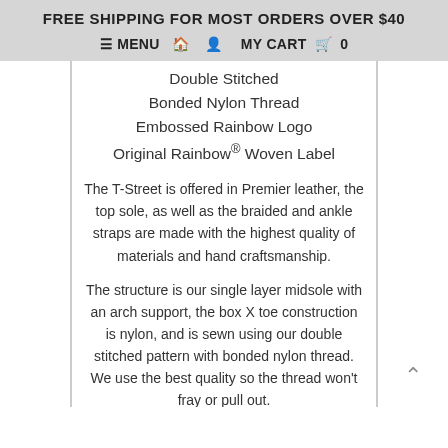FREE SHIPPING FOR MOST ORDERS OVER $40
≡ MENU  🏠  👤  MY CART  🛒  0
Double Stitched
Bonded Nylon Thread
Embossed Rainbow Logo
Original Rainbow® Woven Label
The T-Street is offered in Premier leather, the top sole, as well as the braided and ankle straps are made with the highest quality of materials and hand craftsmanship.
The structure is our single layer midsole with an arch support, the box X toe construction is nylon, and is sewn using our double stitched pattern with bonded nylon thread. We use the best quality so the thread won't fray or pull out.
The strap is braided down the center of the foot,